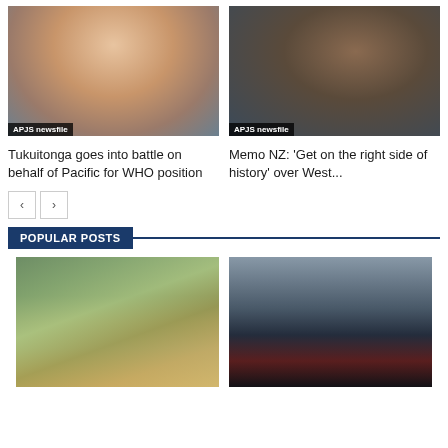[Figure (photo): Headshot of a man in a patterned shirt with 'APJS newsfile' badge]
Tukuitonga goes into battle on behalf of Pacific for WHO position
[Figure (photo): Man in white shirt sitting at desk with laptop and phone, 'APJS newsfile' badge]
Memo NZ: 'Get on the right side of history' over West...
POPULAR POSTS
[Figure (photo): Flooded river scene with house and trees in background]
[Figure (photo): Rainy city street scene at night with tall buildings and traffic lights]